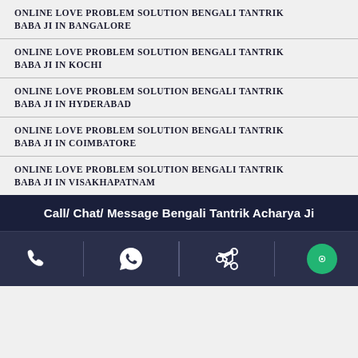ONLINE LOVE PROBLEM SOLUTION BENGALI TANTRIK BABA JI IN BANGALORE
ONLINE LOVE PROBLEM SOLUTION BENGALI TANTRIK BABA JI IN KOCHI
ONLINE LOVE PROBLEM SOLUTION BENGALI TANTRIK BABA JI IN HYDERABAD
ONLINE LOVE PROBLEM SOLUTION BENGALI TANTRIK BABA JI IN COIMBATORE
ONLINE LOVE PROBLEM SOLUTION BENGALI TANTRIK BABA JI IN VISAKHAPATNAM
Call/ Chat/ Message Bengali Tantrik Acharya Ji